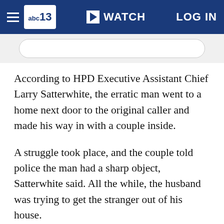abc13 | WATCH | LOG IN
According to HPD Executive Assistant Chief Larry Satterwhite, the erratic man went to a home next door to the original caller and made his way in with a couple inside.
A struggle took place, and the couple told police the man had a sharp object, Satterwhite said. All the while, the husband was trying to get the stranger out of his house.
The ordeal prompted another neighbor to come over with a firearm to help the couple, at which point officers arrived, Satterwhite said.